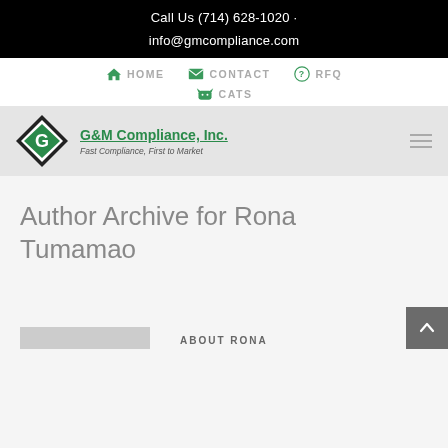Call Us (714) 628-1020 · info@gmcompliance.com
HOME  CONTACT  RFQ  CATS
[Figure (logo): G&M Compliance, Inc. logo — green diamond with white G, company name and tagline 'Fast Compliance, First to Market']
Author Archive for Rona Tumamao
ABOUT RONA